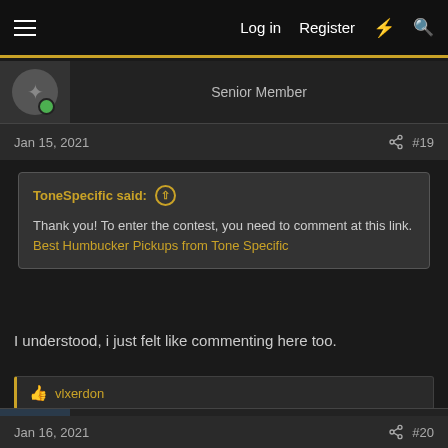Log in  Register
Senior Member
Jan 15, 2021  #19
ToneSpecific said:
Thank you! To enter the contest, you need to comment at this link. Best Humbucker Pickups from Tone Specific
I understood, i just felt like commenting here too.
vlxerdon
jonnyglock9
Member
Jan 16, 2021  #20